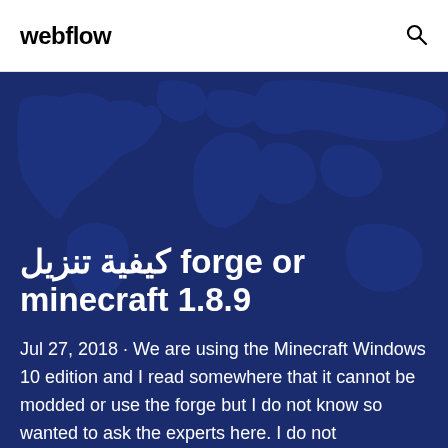webflow
كيفية تنزيل forge or minecraft 1.8.9
Jul 27, 2018 · We are using the Minecraft Windows 10 edition and I read somewhere that it cannot be modded or use the forge but I do not know so wanted to ask the experts here. I do not